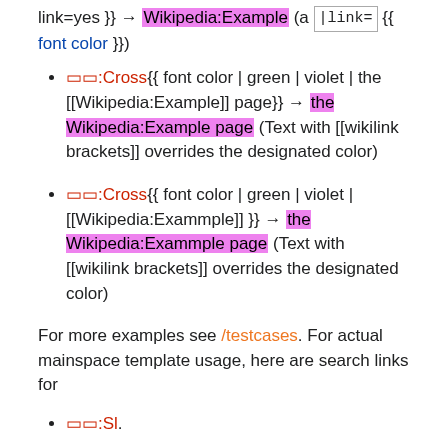link=yes }} → Wikipedia:Example (a |link= {{ font color }})
🅂🅃:Cross{{ font color | green | violet | the [[Wikipedia:Example]] page}} → the Wikipedia:Example page (Text with [[wikilink brackets]] overrides the designated color)
🅂🅃:Cross{{ font color | green | violet | [[Wikipedia:Exammple]] }} → the Wikipedia:Exammple page (Text with [[wikilink brackets]] overrides the designated color)
For more examples see /testcases. For actual mainspace template usage, here are search links for
🅂🅃:Sl.
🅂🅃:Template usage.
🅂🅃:Sl showing its use in articles whose title begins with